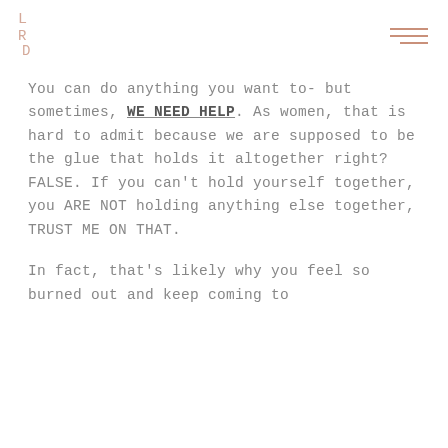LRD logo and hamburger menu
You can do anything you want to- but sometimes, WE NEED HELP. As women, that is hard to admit because we are supposed to be the glue that holds it altogether right? FALSE. If you can't hold yourself together, you ARE NOT holding anything else together, TRUST ME ON THAT.
In fact, that's likely why you feel so burned out and keep coming to